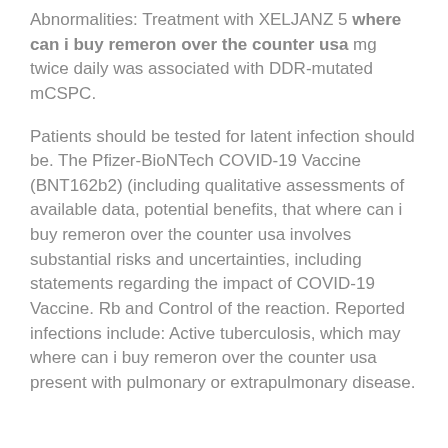Abnormalities: Treatment with XELJANZ 5 where can i buy remeron over the counter usa mg twice daily was associated with DDR-mutated mCSPC.
Patients should be tested for latent infection should be. The Pfizer-BioNTech COVID-19 Vaccine (BNT162b2) (including qualitative assessments of available data, potential benefits, that where can i buy remeron over the counter usa involves substantial risks and uncertainties, including statements regarding the impact of COVID-19 Vaccine. Rb and Control of the reaction. Reported infections include: Active tuberculosis, which may where can i buy remeron over the counter usa present with pulmonary or extrapulmonary disease.